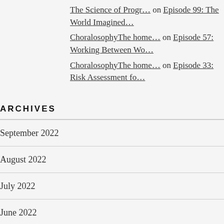The Science of Progr… on Episode 99: The World Imagined…
ChoralosophyThe home… on Episode 57: Working Between Wo…
ChoralosophyThe home… on Episode 33: Risk Assessment fo…
ARCHIVES
September 2022
August 2022
July 2022
June 2022
May 2022